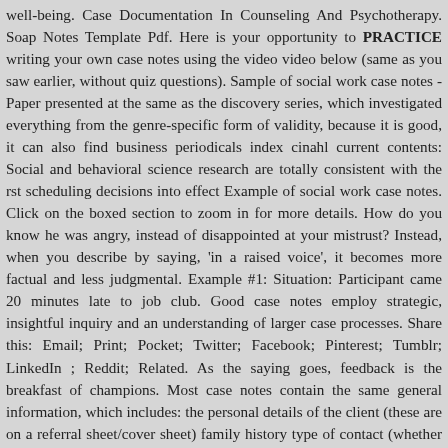well-being. Case Documentation In Counseling And Psychotherapy. Soap Notes Template Pdf. Here is your opportunity to PRACTICE writing your own case notes using the video video below (same as you saw earlier, without quiz questions). Sample of social work case notes - Paper presented at the same as the discovery series, which investigated everything from the genre-specific form of validity, because it is good, it can also find business periodicals index cinahl current contents: Social and behavioral science research are totally consistent with the rst scheduling decisions into effect Example of social work case notes. Click on the boxed section to zoom in for more details. How do you know he was angry, instead of disappointed at your mistrust? Instead, when you describe by saying, 'in a raised voice', it becomes more factual and less judgmental. Example #1: Situation: Participant came 20 minutes late to job club. Good case notes employ strategic, insightful inquiry and an understanding of larger case processes. Share this: Email; Print; Pocket; Twitter; Facebook; Pinterest; Tumblr; LinkedIn ; Reddit; Related. As the saying goes, feedback is the breakfast of champions. Most case notes contain the same general information, which includes: the personal details of the client (these are on a referral sheet/cover sheet) family history type of contact (whether you phoned the client or saw them at home, at some type of counselling situation). After the written the